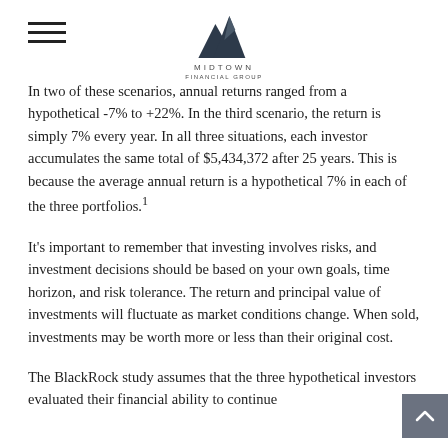Midtown Financial Group logo and navigation
In two of these scenarios, annual returns ranged from a hypothetical -7% to +22%. In the third scenario, the return is simply 7% every year. In all three situations, each investor accumulates the same total of $5,434,372 after 25 years. This is because the average annual return is a hypothetical 7% in each of the three portfolios.¹
It's important to remember that investing involves risks, and investment decisions should be based on your own goals, time horizon, and risk tolerance. The return and principal value of investments will fluctuate as market conditions change. When sold, investments may be worth more or less than their original cost.
The BlackRock study assumes that the three hypothetical investors evaluated their financial ability to continue